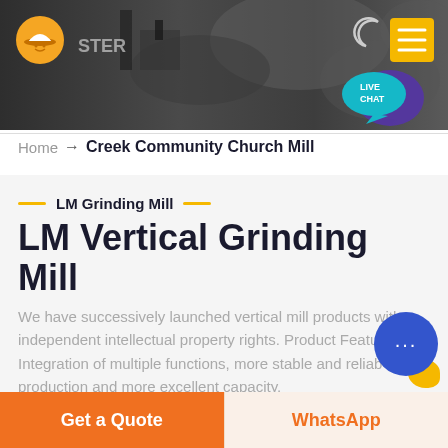[Figure (screenshot): Dark grey website header banner with a construction/mining machine background image. Contains an orange logo icon on the left, partially visible logo text, a moon icon and yellow menu button on the top right, and a teal LIVE CHAT speech bubble on the right.]
Home → Creek Community Church Mill
LM Grinding Mill
LM Vertical Grinding Mill
We have successively launched vertical mill products with independent intellectual property rights. Product Features: Integration of multiple functions, more stable and reliable production and more excellent capacity.
Get a Quote
WhatsApp